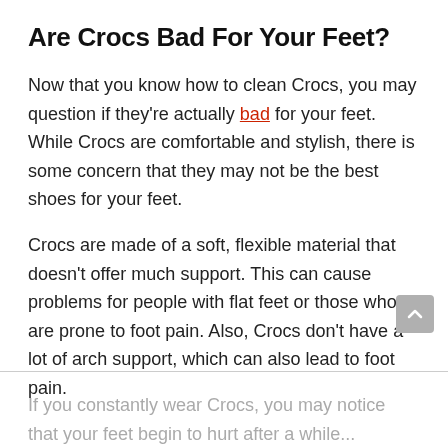Are Crocs Bad For Your Feet?
Now that you know how to clean Crocs, you may question if they're actually bad for your feet. While Crocs are comfortable and stylish, there is some concern that they may not be the best shoes for your feet.
Crocs are made of a soft, flexible material that doesn't offer much support. This can cause problems for people with flat feet or those who are prone to foot pain. Also, Crocs don't have a lot of arch support, which can also lead to foot pain.
If you constantly wear Crocs, you may notice that your feet begin to hurt after a while...